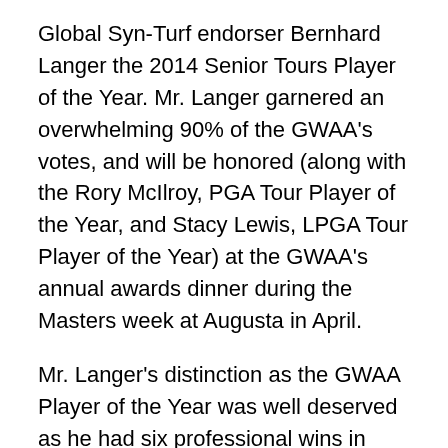Global Syn-Turf endorser Bernhard Langer the 2014 Senior Tours Player of the Year. Mr. Langer garnered an overwhelming 90% of the GWAA's votes, and will be honored (along with the Rory McIlroy, PGA Tour Player of the Year, and Stacy Lewis, LPGA Tour Player of the Year) at the GWAA's annual awards dinner during the Masters week at Augusta in April.
Mr. Langer's distinction as the GWAA Player of the Year was well deserved as he had six professional wins in 2014, including the Charles Schwab Cup and the PNC Father/Son Challenge last month, and was named the Champions Tour Play of the Year. Undoubtedly, Mr. Langer's performance in 2014 has cemented his reputation as the most consistent and disciplined player in his class.
As a Global Syn-Turf endorser, Mr. Langer represents...